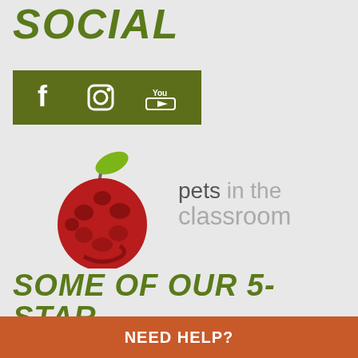SOCIAL
[Figure (infographic): Green social media bar with Facebook, Instagram, and YouTube icons in white on olive/dark green background]
[Figure (logo): Pets in the Classroom logo: red apple made of animal silhouettes with green leaf and stem, next to text 'pets in the classroom' in gray]
SOME OF OUR 5-STAR REVIEWS
We visited you can to find the perfect
NEED HELP?